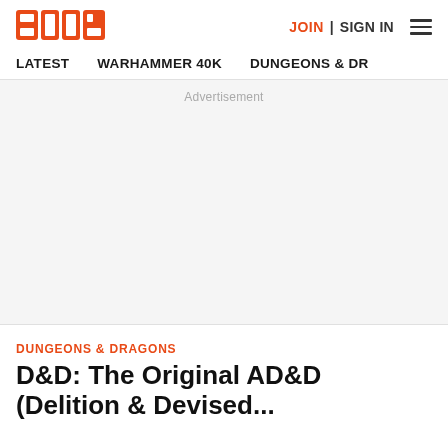BOLS logo | JOIN | SIGN IN
LATEST   WARHAMMER 40K   DUNGEONS & DR
Advertisement
DUNGEONS & DRAGONS
D&D: The Original AD&D (Delition & Devised...